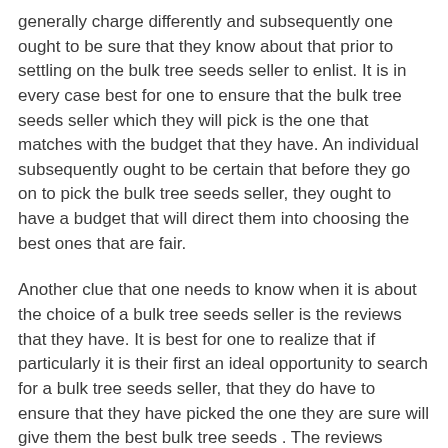generally charge differently and subsequently one ought to be sure that they know about that prior to settling on the bulk tree seeds seller to enlist. It is in every case best for one to ensure that the bulk tree seeds seller which they will pick is the one that matches with the budget that they have. An individual subsequently ought to be certain that before they go on to pick the bulk tree seeds seller, they ought to have a budget that will direct them into choosing the best ones that are fair.
Another clue that one needs to know when it is about the choice of a bulk tree seeds seller is the reviews that they have. It is best for one to realize that if particularly it is their first an ideal opportunity to search for a bulk tree seeds seller, that they do have to ensure that they have picked the one they are sure will give them the best bulk tree seeds . The reviews which the bulk tree seeds seller has gotten throughout the years they have been offering such types of bulk tree seeds can make an individual to know what to expect from them. An individual should realize that assuming the reviews are